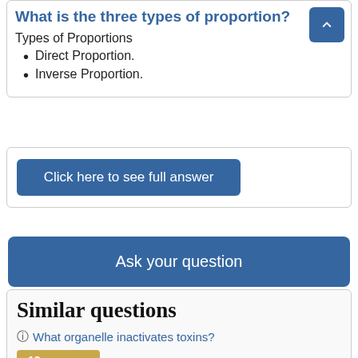What is the three types of proportion?
Types of Proportions
Direct Proportion.
Inverse Proportion.
Click here to see full answer
Ask your question
Similar questions
What organelle inactivates toxins?
18 answers
What is the purpose of fermentation